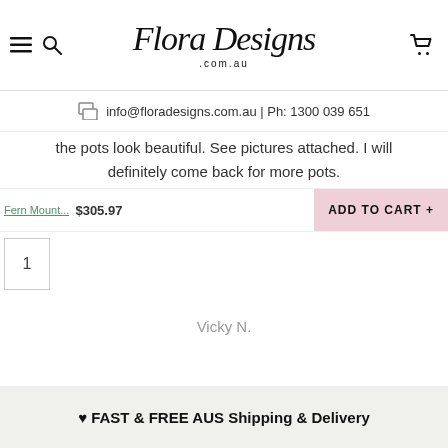[Figure (logo): Flora Designs .com.au script logo with hamburger menu, search icon, and cart icon]
info@floradesigns.com.au | Ph: 1300 039 651
the pots look beautiful. See pictures attached. I will definitely come back for more pots.
Fern Mount... $305.97 ADD TO CART +
1
Vicky N.
❤ FAST & FREE AUS Shipping & Delivery